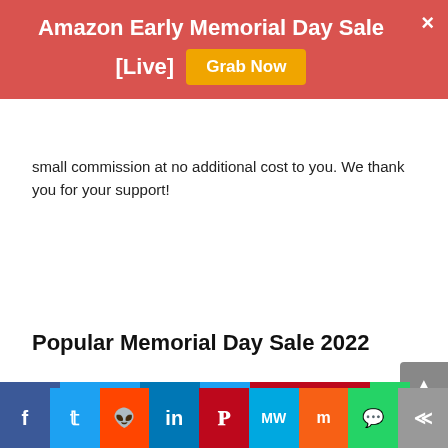Amazon Early Memorial Day Sale [Live] Grab Now
small commission at no additional cost to you. We thank you for your support!
Popular Memorial Day Sale 2022
[Figure (infographic): Social media share bar with icons for Facebook, Twitter, Reddit, LinkedIn, Pinterest, MixedWeeds, Mix, WhatsApp, and a share button]